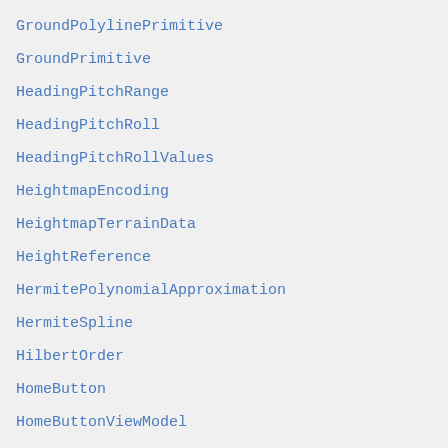GroundPolylinePrimitive
GroundPrimitive
HeadingPitchRange
HeadingPitchRoll
HeadingPitchRollValues
HeightmapEncoding
HeightmapTerrainData
HeightReference
HermitePolynomialApproximation
HermiteSpline
HilbertOrder
HomeButton
HomeButtonViewModel
HorizontalOrigin
ImageBasedLighting
ImageMaterialProperty
ImageryLayer
ImageryLayerCollection
ImageryLayerFeatureInfo
ImageryProvider